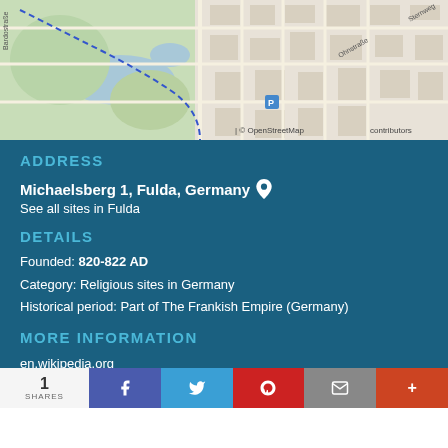[Figure (map): OpenStreetMap showing Fulda, Germany area with streets including Bardostraße, Ohnstraße, and surrounding roads and green areas. Copyright notice visible.]
ADDRESS
Michaelsberg 1, Fulda, Germany
See all sites in Fulda
DETAILS
Founded: 820-822 AD
Category: Religious sites in Germany
Historical period: Part of The Frankish Empire (Germany)
MORE INFORMATION
en.wikipedia.org
RATING
4.7/5 (based on Google user reviews)
1 SHARES | Facebook | Twitter | Pinterest | Email | More